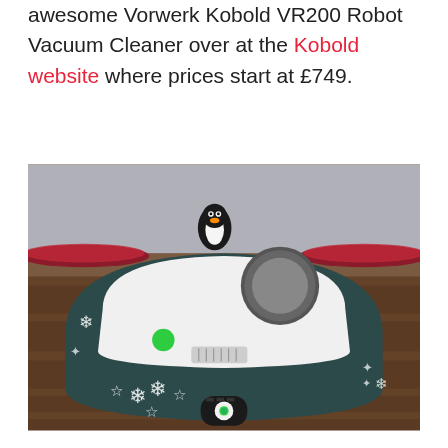awesome Vorwerk Kobold VR200 Robot Vacuum Cleaner over at the Kobold website where prices start at £749.
[Figure (photo): Vorwerk Kobold VR200 robot vacuum cleaner photographed on a wooden floor with Christmas tinsel and snowflake decorations in the background, a penguin stuffed toy visible behind it, and a remote control in front of it.]